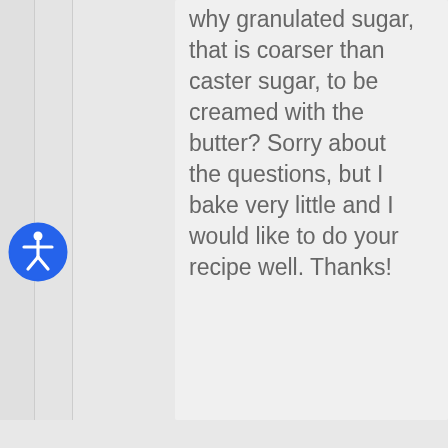[Figure (illustration): Blue circular accessibility icon with a stylized human figure, representing a web accessibility button]
why granulated sugar, that is coarser than caster sugar, to be creamed with the butter? Sorry about the questions, but I bake very little and I would like to do your recipe well. Thanks!